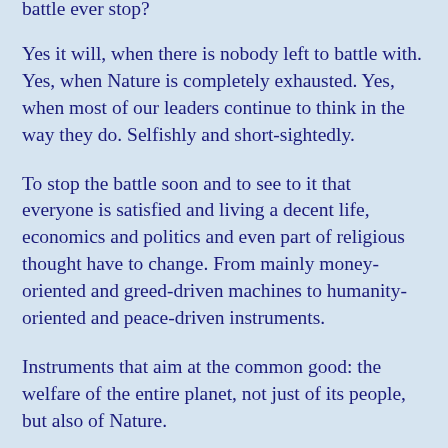battle ever stop?
Yes it will, when there is nobody left to battle with. Yes, when Nature is completely exhausted. Yes, when most of our leaders continue to think in the way they do. Selfishly and short-sightedly.
To stop the battle soon and to see to it that everyone is satisfied and living a decent life, economics and politics and even part of religious thought have to change. From mainly money-oriented and greed-driven machines to humanity-oriented and peace-driven instruments.
Instruments that aim at the common good: the welfare of the entire planet, not just of its people, but also of Nature.
Various countries are claiming incredibly vast areas of land at the bottom of our seas and oceans, as well as the poles. Going way beyond the 200 mile continental shelf